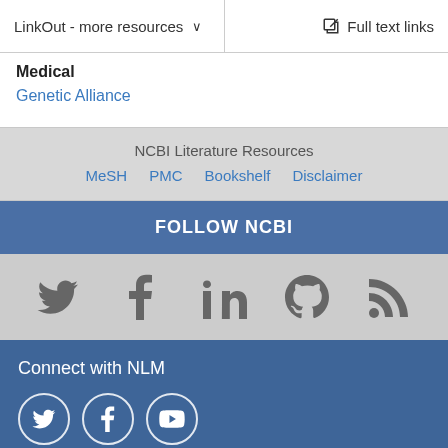LinkOut - more resources  Full text links
Medical
Genetic Alliance
NCBI Literature Resources
MeSH  PMC  Bookshelf  Disclaimer
FOLLOW NCBI
[Figure (other): Social media icons: Twitter, Facebook, LinkedIn, GitHub, RSS]
Connect with NLM
[Figure (other): Connect with NLM social icons: Twitter, Facebook, YouTube in circles]